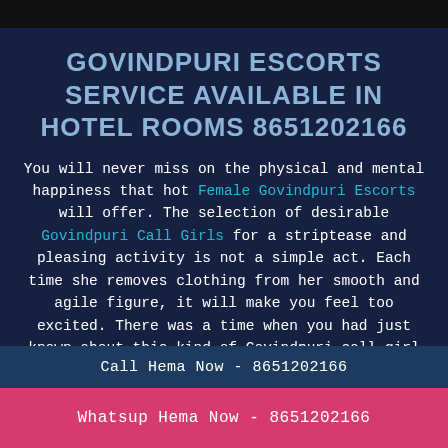GOVINDPURI ESCORTS SERVICE AVAILABLE IN HOTEL ROOMS 8651202166
You will never miss on the physical and mental happiness that hot Female Govindpuri Escorts will offer. The selection of desirable Govindpuri Call Girls for a striptease and pleasing activity is not a simple act. Each time she removes clothing from her smooth and agile figure, it will make you feel too excited. There was a time when you had just known about this kind of Govindpuri call girl service. Now you can have it.
Call Hema Now - 8651202166
Whatsup Hema Now - 8651202166